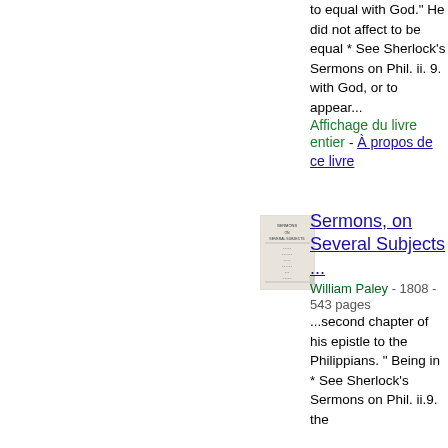to equal with God." He did not affect to be equal * See Sherlock's Sermons on Phil. ii. 9. with God, or to appear...
Affichage du livre entier
À propos de ce livre
[Figure (photo): Small book cover thumbnail for Sermons on Several Subjects]
Sermons, on Several Subjects ...
William Paley - 1808 - 543 pages
...second chapter of his epistle to the Philippians. " Being in * See Sherlock's Sermons on Phil. ii.9. the